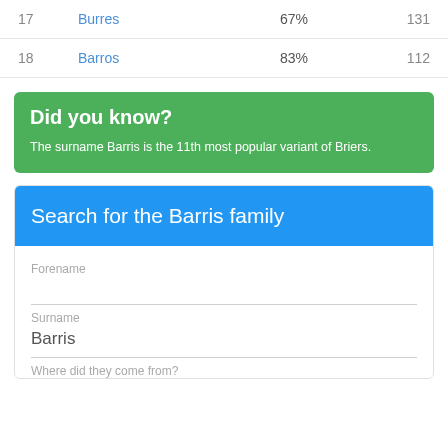| # | Name | Pct | Count |
| --- | --- | --- | --- |
| 17 | Burres | 67% | 131 |
| 18 | Barros | 83% | 112 |
Did you know?
The surname Barris is the 11th most popular variant of Briers.
Search for the Barris family
Forename
Surname
Barris
Where did they come from?